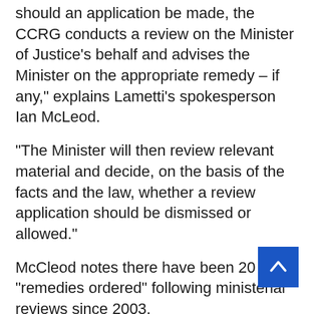should an application be made, the CCRG conducts a review on the Minister of Justice’s behalf and advises the Minister on the appropriate remedy – if any,” explains Lametti’s spokesperson Ian McLeod.
“The Minister will then review relevant material and decide, on the basis of the facts and the law, whether a review application should be dismissed or allowed.”
McCleod notes there have been 20 “remedies ordered” following ministerial reviews since 2003.
“From 1988 to 2002, our data is less reliable, but out of 11 remedies during that time frame, ten were male, and one female. It should also be noted that a remedy is not an exoneration, but an order for a trial or new appeal.”
McLeod says the department does not keep track of